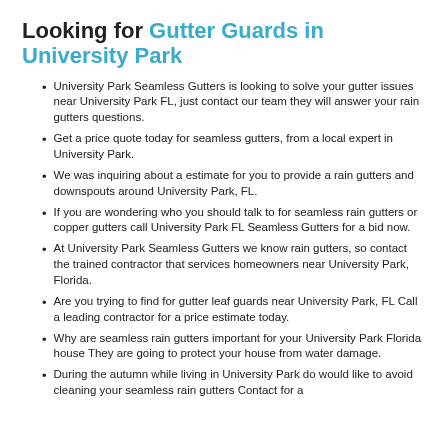Looking for Gutter Guards in University Park
University Park Seamless Gutters is looking to solve your gutter issues near University Park FL, just contact our team they will answer your rain gutters questions.
Get a price quote today for seamless gutters, from a local expert in University Park.
We was inquiring about a estimate for you to provide a rain gutters and downspouts around University Park, FL.
If you are wondering who you should talk to for seamless rain gutters or copper gutters call University Park FL Seamless Gutters for a bid now.
At University Park Seamless Gutters we know rain gutters, so contact the trained contractor that services homeowners near University Park, Florida.
Are you trying to find for gutter leaf guards near University Park, FL Call a leading contractor for a price estimate today.
Why are seamless rain gutters important for your University Park Florida house They are going to protect your house from water damage.
During the autumn while living in University Park do would like to avoid cleaning your seamless rain gutters Contact for a for gutter guards for your home.